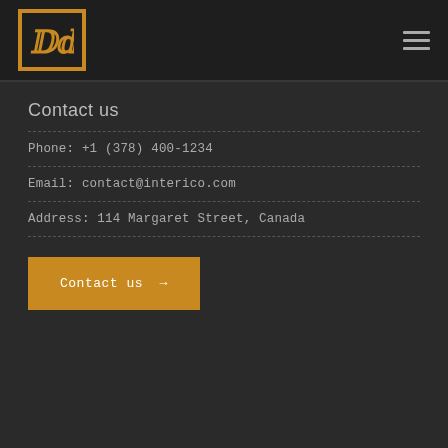[Figure (logo): Company logo: orange/gold bordered square with stylized double-bracket 'IC' monogram]
Contact us
Phone: +1 (378) 400-1234
Email: contact@interico.com
Address: 114 Margaret Street, Canada
Contact us →